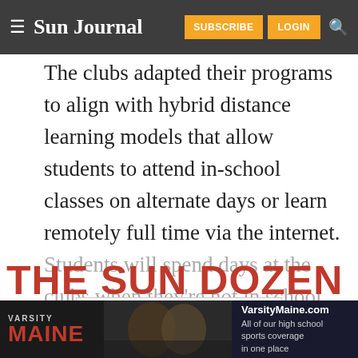Sun Journal | SUBSCRIBE | LOGIN
The clubs adapted their programs to align with hybrid distance learning models that allow students to attend in-school classes on alternate days or learn remotely full time via the internet. Students will spend days at the clubs when they're not in school.
CONTINUE READING
THE SUN DOZEN
[Figure (photo): VarsityMaine.com advertisement banner showing football players with text 'VarsityMaine.com All of our high school sports coverage in one place']